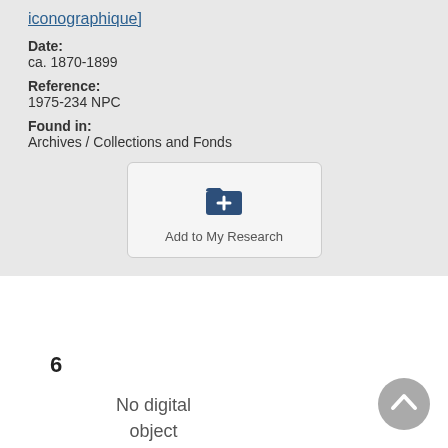iconographique]
Date:
ca. 1870-1899
Reference:
1975-234 NPC
Found in:
Archives / Collections and Fonds
[Figure (other): Add to My Research button with folder-plus icon]
6
No digital object